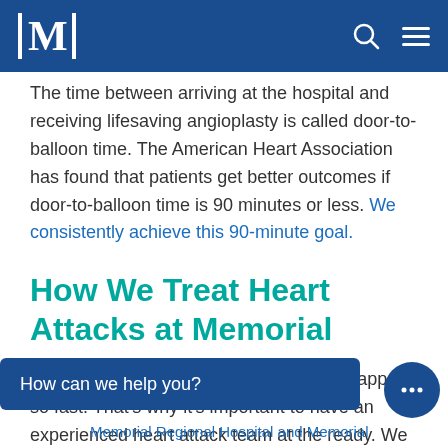M [logo] [search icon] [menu icon]
The time between arriving at the hospital and receiving lifesaving angioplasty is called door-to-balloon time. The American Heart Association has found that patients get better outcomes if door-to-balloon time is 90 minutes or less. We consistently achieve this 90-minute goal.
How We Treat Heart Attacks at Memorial
A heart attack is frightening. Everything happens so fast. That's why it's important to have an experienced heart attack team at the ready. We offer:
How can we help you?
Memorial Regional Hospital and Memorial